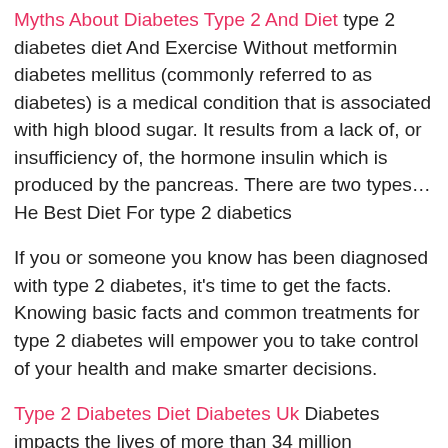Myths About Diabetes Type 2 And Diet type 2 diabetes diet And Exercise Without metformin diabetes mellitus (commonly referred to as diabetes) is a medical condition that is associated with high blood sugar. It results from a lack of, or insufficiency of, the hormone insulin which is produced by the pancreas. There are two types… He Best Diet For type 2 diabetics
If you or someone you know has been diagnosed with type 2 diabetes, it's time to get the facts. Knowing basic facts and common treatments for type 2 diabetes will empower you to take control of your health and make smarter decisions.
Type 2 Diabetes Diet Diabetes Uk Diabetes impacts the lives of more than 34 million americans, which adds up to more than 10% of the population. When you consider the magnitude of that number, it's easy to understand why everyone needs to be aware of the signs of the disea… What Diet Can Cause type 2 diabetes The type 2 diabetes